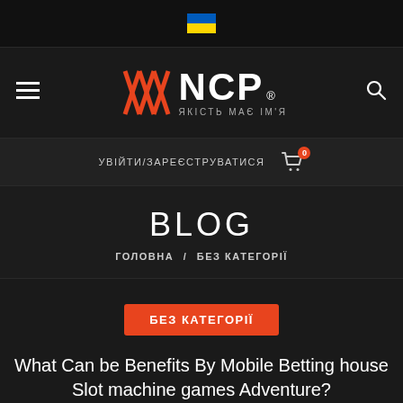[Figure (logo): Ukrainian flag emoji in top bar]
[Figure (logo): NCP logo with orange geometric icon and text ЯКІСТЬ МАЄ ІМ'Я, hamburger menu icon on left, search icon on right]
УВІЙТИ/ЗАРЕЄСТРУВАТИСЯ
BLOG
ГОЛОВНА / БЕЗ КАТЕГОРІЇ
БЕЗ КАТЕГОРІЇ
What Can be Benefits By Mobile Betting house Slot machine games Adventure?